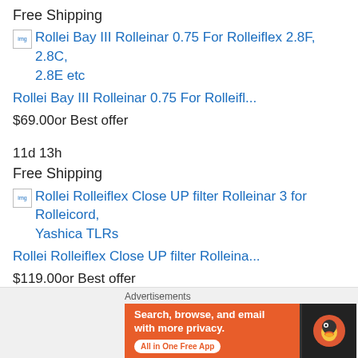Free Shipping
[Figure (other): Broken image placeholder for: Rollei Bay III Rolleinar 0.75 For Rolleiflex 2.8F, 2.8C, 2.8E etc]
Rollei Bay III Rolleinar 0.75 For Rolleifl...
$69.00or Best offer
11d 13h
Free Shipping
[Figure (other): Broken image placeholder for: Rollei Rolleiflex Close UP filter Rolleinar 3 for Rolleicord, Yashica TLRs]
Rollei Rolleiflex Close UP filter Rolleina...
$119.00or Best offer
13d
Advertisements
[Figure (other): DuckDuckGo advertisement banner: Search, browse, and email with more privacy. All in One Free App]